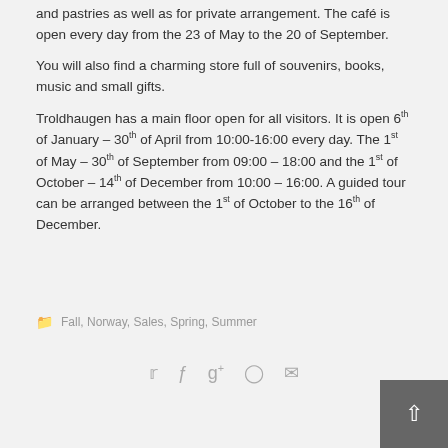and pastries as well as for private arrangement. The café is open every day from the 23 of May to the 20 of September.
You will also find a charming store full of souvenirs, books, music and small gifts.
Troldhaugen has a main floor open for all visitors. It is open 6th of January – 30th of April from 10:00-16:00 every day. The 1st of May – 30th of September from 09:00 – 18:00 and the 1st of October – 14th of December from 10:00 – 16:00. A guided tour can be arranged between the 1st of October to the 16th of December.
Fall, Norway, Sales, Spring, Summer